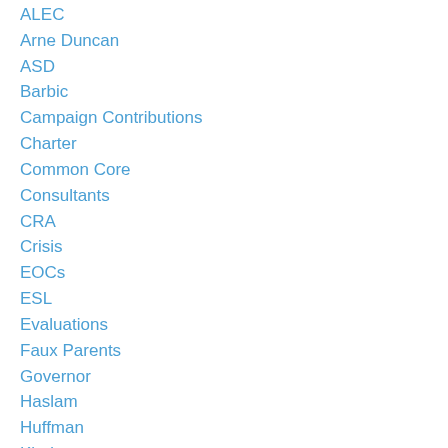ALEC
Arne Duncan
ASD
Barbic
Campaign Contributions
Charter
Common Core
Consultants
CRA
Crisis
EOCs
ESL
Evaluations
Faux Parents
Governor
Haslam
Huffman
Kindergarten
KIPP
Laws
Legislators